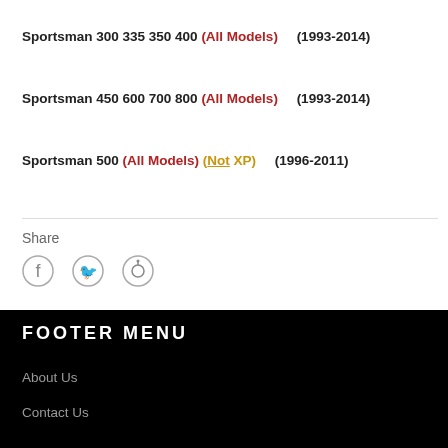Sportsman 300 335 350 400 (All Models) (1993-2014)
Sportsman 450 600 700 800 (All Models) (1993-2014)
Sportsman 500 (All Models) (Not XP) (1996-2011)
Share
[Figure (infographic): Social share icons: Facebook, Twitter, Pinterest]
FOOTER MENU
About Us
Contact Us